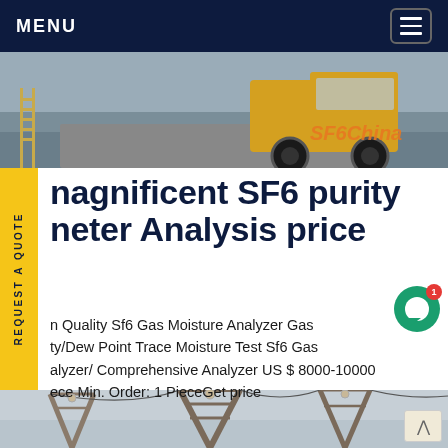MENU
[Figure (photo): Hero banner photo showing a yellow truck/vehicle on a road with a ladder visible on the left, and the 'SF6China' orange text watermark on the right]
magnificent SF6 purity meter Analysis price
n Quality Sf6 Gas Moisture Analyzer Gas ty/Dew Point Trace Moisture Test Sf6 Gas alyzer/ Comprehensive Analyzer US $ 8000-10000 ece Min. Order: 1 PieceGet price
[Figure (photo): Bottom banner photo showing electrical power transmission towers/pylons against a light sky]